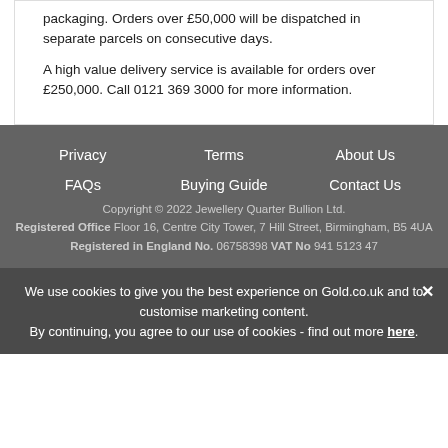packaging. Orders over £50,000 will be dispatched in separate parcels on consecutive days.
A high value delivery service is available for orders over £250,000. Call 0121 369 3000 for more information.
Privacy | Terms | About Us | FAQs | Buying Guide | Contact Us | Copyright © 2022 Jewellery Quarter Bullion Ltd. | Registered Office Floor 16, Centre City Tower, 7 Hill Street, Birmingham, B5 4UA | Registered in England No. 06758398 VAT No 941 5123 47
We use cookies to give you the best experience on Gold.co.uk and to customise marketing content. By continuing, you agree to our use of cookies - find out more here.